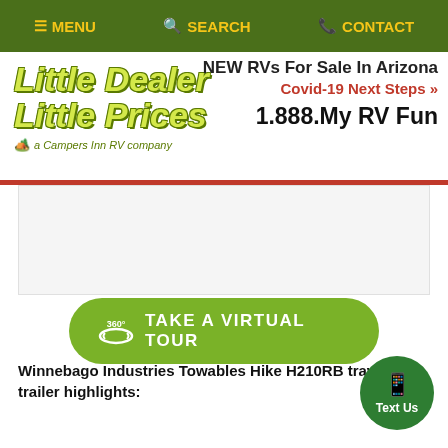≡ MENU  🔍 SEARCH  📞 CONTACT
[Figure (logo): Little Dealer Little Prices - a Campers Inn RV company logo with yellow-green italic bold text]
NEW RVs For Sale In Arizona
Covid-19 Next Steps »
1.888.My RV Fun
[Figure (photo): RV image placeholder area (white/light gray)]
TAKE A VIRTUAL TOUR
Winnebago Industries Towables Hike H210RB travel trailer highlights:
Text Us